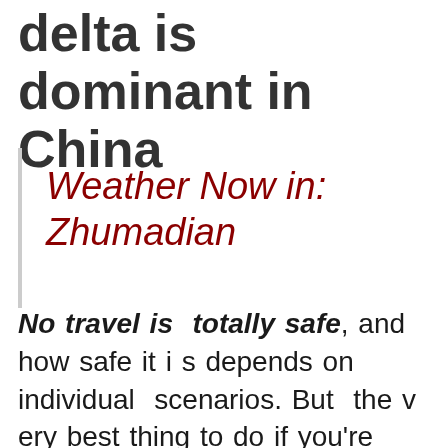delta is dominant in China
Weather Now in: Zhumadian
No travel is totally safe, and how safe it is depends on individual scenarios. But the very best thing to do if you're preparing to travel is to make sure that every person in your travel celebration who is qualified is completely immunized, consisting of all grownups, Lipps says. The CDC advises that you postpone travel till you are completely immu